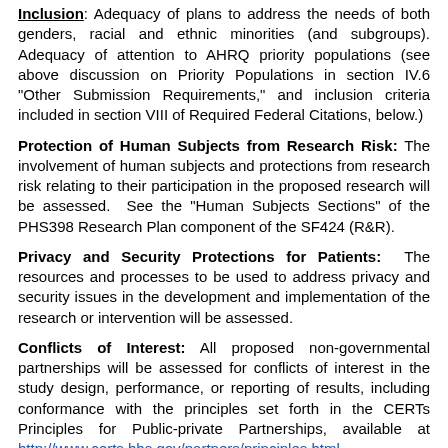Inclusion: Adequacy of plans to address the needs of both genders, racial and ethnic minorities (and subgroups). Adequacy of attention to AHRQ priority populations (see above discussion on Priority Populations in section IV.6 "Other Submission Requirements," and inclusion criteria included in section VIII of Required Federal Citations, below.)
Protection of Human Subjects from Research Risk: The involvement of human subjects and protections from research risk relating to their participation in the proposed research will be assessed.  See the "Human Subjects Sections" of the PHS398 Research Plan component of the SF424 (R&R).
Privacy and Security Protections for Patients:  The resources and processes to be used to address privacy and security issues in the development and implementation of the research or intervention will be assessed.
Conflicts of Interest: All proposed non-governmental partnerships will be assessed for conflicts of interest in the study design, performance, or reporting of results, including conformance with the principles set forth in the CERTs Principles for Public-private Partnerships, available at http://www.certs.hhs.gov/partners/principles.html